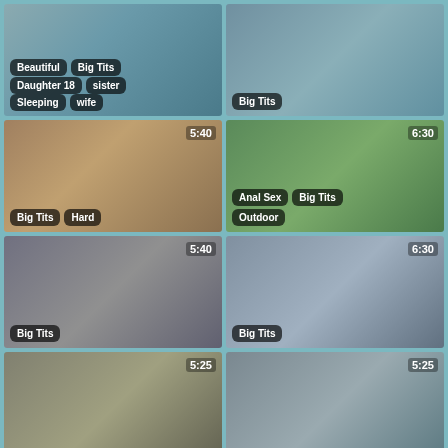[Figure (screenshot): Video thumbnail grid cell 1 - top left, tags: Beautiful, Big Tits, Daughter 18, sister, Sleeping, wife]
[Figure (screenshot): Video thumbnail grid cell 2 - top right, tag: Big Tits]
[Figure (screenshot): Video thumbnail grid cell 3 - second row left, timer 5:40, tags: Big Tits, Hard]
[Figure (screenshot): Video thumbnail grid cell 4 - second row right, timer 6:30, tags: Anal Sex, Big Tits, Outdoor]
[Figure (screenshot): Video thumbnail grid cell 5 - third row left, timer 5:40, tag: Big Tits]
[Figure (screenshot): Video thumbnail grid cell 6 - third row right, timer 6:30, tag: Big Tits]
[Figure (screenshot): Video thumbnail grid cell 7 - bottom left, timer 5:25]
[Figure (screenshot): Video thumbnail grid cell 8 - bottom right, timer 5:25]